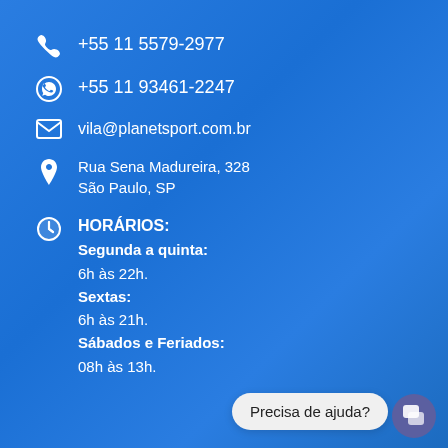+55 11 5579-2977
+55 11 93461-2247
vila@planetsport.com.br
Rua Sena Madureira, 328
São Paulo, SP
HORÁRIOS:
Segunda a quinta:
6h às 22h.
Sextas:
6h às 21h.
Sábados e Feriados:
08h às 13h.
Precisa de ajuda?